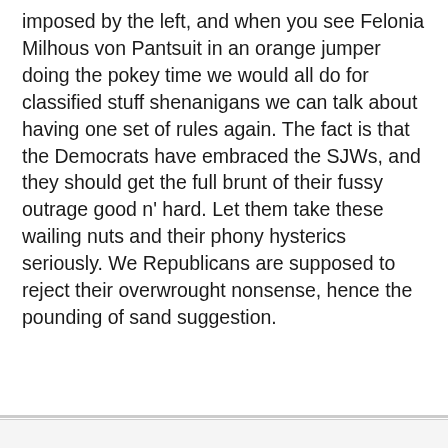imposed by the left, and when you see Felonia Milhous von Pantsuit in an orange jumper doing the pokey time we would all do for classified stuff shenanigans we can talk about having one set of rules again. The fact is that the Democrats have embraced the SJWs, and they should get the full brunt of their fussy outrage good n' hard. Let them take these wailing nuts and their phony hysterics seriously. We Republicans are supposed to reject their overwrought nonsense, hence the pounding of sand suggestion.
[Figure (other): Gray panel with a close (X) button in the bottom-right corner]